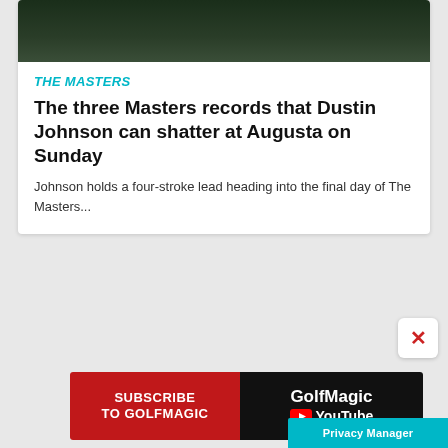[Figure (photo): Dark green foliage background with a person in dark clothing at the top of the card]
THE MASTERS
The three Masters records that Dustin Johnson can shatter at Augusta on Sunday
Johnson holds a four-stroke lead heading into the final day of The Masters...
[Figure (screenshot): GolfMagic YouTube subscribe advertisement banner with red left side showing SUBSCRIBE TO GOLFMAGIC text and black right side showing GolfMagic YouTube logo]
Privacy Manager